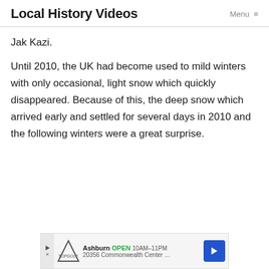Local History Videos
Jak Kazi.
Until 2010, the UK had become used to mild winters with only occasional, light snow which quickly disappeared. Because of this, the deep snow which arrived early and settled for several days in 2010 and the following winters were a great surprise.
[Figure (other): Advertisement banner for Topgolf Ashburn showing logo, OPEN status, hours 10AM-11PM, address 20356 Commonwealth Center, navigation arrow icon, and play button.]